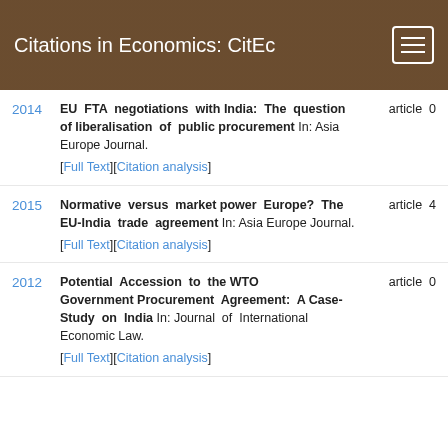Citations in Economics: CitEc
2014 — EU FTA negotiations with India: The question of liberalisation of public procurement In: Asia Europe Journal. [Full Text][Citation analysis] article 0
2015 — Normative versus market power Europe? The EU-India trade agreement In: Asia Europe Journal. [Full Text][Citation analysis] article 4
2012 — Potential Accession to the WTO Government Procurement Agreement: A Case-Study on India In: Journal of International Economic Law. [Full Text][Citation analysis] article 0